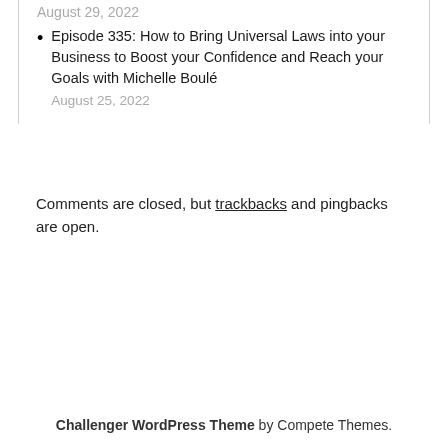Episode 335: How to Bring Universal Laws into your Business to Boost your Confidence and Reach your Goals with Michelle Boulé
August 25, 2022
Comments are closed, but trackbacks and pingbacks are open.
Challenger WordPress Theme by Compete Themes.